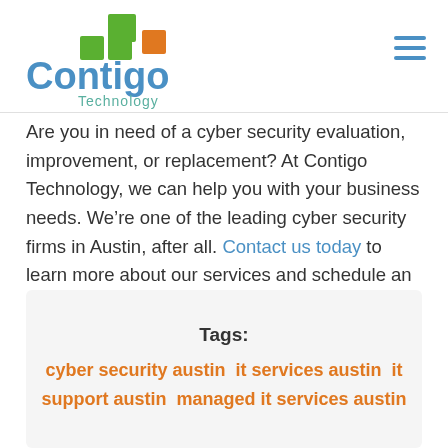[Figure (logo): Contigo Technology logo with green and orange square blocks above the word Contigo in blue and Technology in teal below]
Are you in need of a cyber security evaluation, improvement, or replacement? At Contigo Technology, we can help you with your business needs. We’re one of the leading cyber security firms in Austin, after all. Contact us today to learn more about our services and schedule an appointment.
Tags: cyber security austin  it services austin  it support austin  managed it services austin